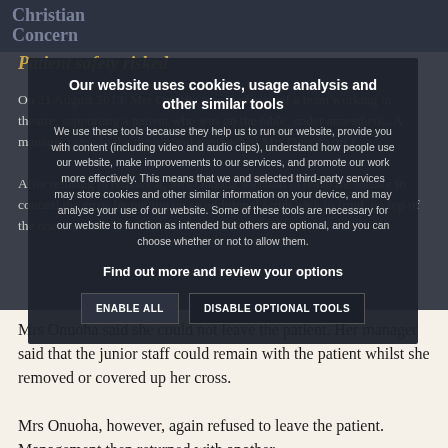Christian Concern
Patient safety risked
On 21 August 2013, Mrs Onuoha was in charge of a team working in theatre, supporting a patient who was on the table, under anaesthetic. A manager came to the theatre and approached Mrs Onuoha, or t...
After refusing to remove it, Mrs Onuoha was told to leave the theatre to conceal the cross by putting on an additional scrub back to front, on top of the one she w...
Mrs Onuoha said she could not leave the patient. Her manager said that the junior staff could remain with the patient whilst she removed or covered up her cross.
Mrs Onuoha, however, again refused to leave the patient. Management then returned with another
Our website uses cookies, usage analysis and other similar tools

We use these tools because they help us to run our website, provide you with content (including video and audio clips), understand how people use our website, make improvements to our services, and promote our work more effectively. This means that we and selected third-party services may store cookies and other similar information on your device, and may analyse your use of our website. Some of these tools are necessary for our website to function as intended but others are optional, and you can choose whether or not to allow them.

Find out more and review your options

ENABLE ALL   DISABLE OPTIONAL TOOLS